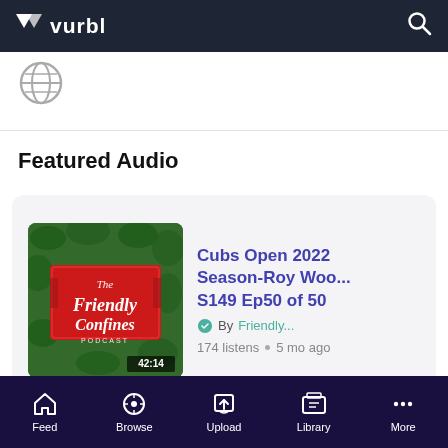vurbl
[Figure (screenshot): Globe icon]
Featured Audio
[Figure (screenshot): Podcast card: The Friendly Confines Podcast thumbnail with duration 42:14, title Cubs Open 2022 Season-Roy Woo... S149 Ep50 of 50, By Friendly..., 174 listens, 5 mo ago]
Feed  Browse  Upload  Library  More